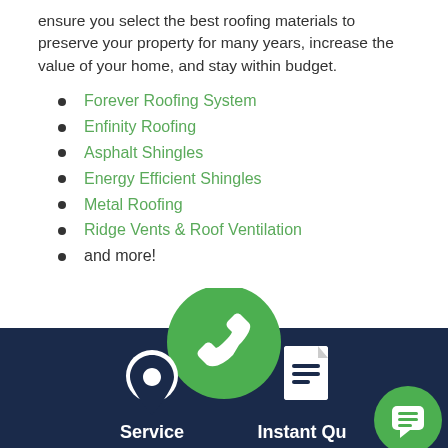ensure you select the best roofing materials to preserve your property for many years, increase the value of your home, and stay within budget.
Forever Roofing System
Enfinity Roofing
Asphalt Shingles
Energy Efficient Shingles
Metal Roofing
Ridge Vents & Roof Ventilation
and more!
[Figure (infographic): Dark blue footer bar with a green phone icon circle (overlapping top), a white map pin icon labeled 'Service', a white document icon labeled 'Instant Qu...', and a small green chat bubble circle at bottom right.]